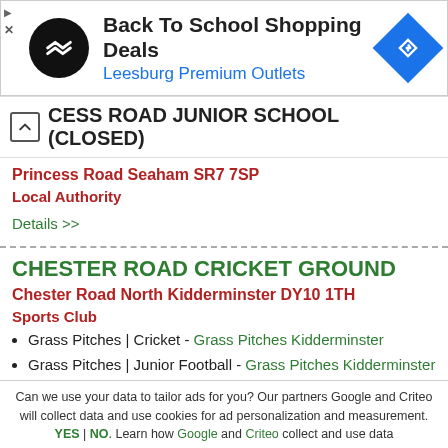[Figure (other): Ad banner: Back To School Shopping Deals - Leesburg Premium Outlets, with circular logo and blue diamond arrow icon]
CESS ROAD JUNIOR SCHOOL (CLOSED)
Princess Road Seaham SR7 7SP
Local Authority
Details >>
CHESTER ROAD CRICKET GROUND
Chester Road North Kidderminster DY10 1TH
Sports Club
Grass Pitches | Cricket - Grass Pitches Kidderminster
Grass Pitches | Junior Football - Grass Pitches Kidderminster
Can we use your data to tailor ads for you? Our partners Google and Criteo will collect data and use cookies for ad personalization and measurement. YES | NO. Learn how Google and Criteo collect and use data